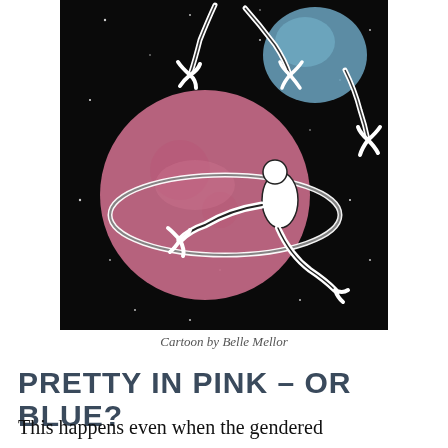[Figure (illustration): An artistic illustration on a black background showing two figures intertwined with a large pink/rose-colored circular shape (planet or orb) and a smaller blue orb in the upper right. White skeletal or elongated hands and limbs reach outward. Stars are scattered in the black background.]
Cartoon by Belle Mellor
PRETTY IN PINK – OR BLUE?
This happens even when the gendered